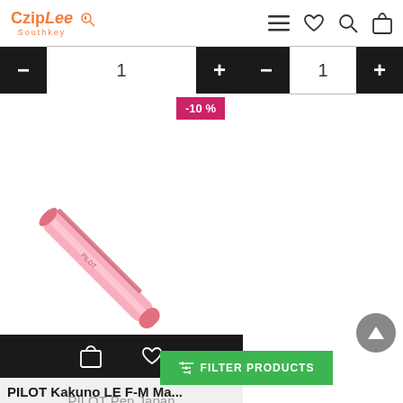CzipLee Southkey
- 1 + - 1 +
[Figure (photo): Pink PILOT pen (Kakuno LE) shown diagonally with a -10% discount badge in pink/magenta color.]
PILOT Pen Japan
FILTER PRODUCTS
PILOT Kakuno LE F-M Ma...